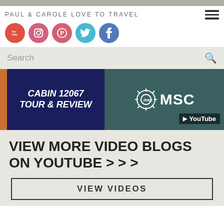PAUL & CAROLE LOVE TO TRAVEL
[Figure (screenshot): Social media icons row: YouTube (red), Instagram (pink), Pinterest (pink), Twitter (blue), Facebook (blue)]
Search
[Figure (screenshot): Video thumbnail banner showing 'CABIN 12067 TOUR & REVIEW' on dark blue background left side, and MSC Cruises logo with YouTube overlay on right side]
VIEW MORE VIDEO BLOGS ON YOUTUBE > > >
VIEW VIDEOS